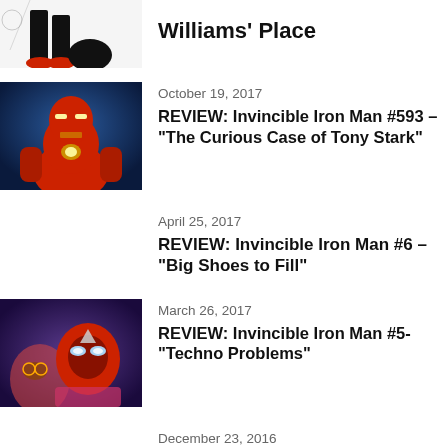[Figure (illustration): Partial comic-style illustration showing legs with red sneakers and a dark-haired figure]
Williams' Place
[Figure (illustration): Iron Man in red and gold armor against a blue background]
October 19, 2017
REVIEW: Invincible Iron Man #593 – “The Curious Case of Tony Stark”
April 25, 2017
REVIEW: Invincible Iron Man #6 – “Big Shoes to Fill”
[Figure (illustration): Young female hero in Iron Man-style helmet and pink outfit]
March 26, 2017
REVIEW: Invincible Iron Man #5- “Techno Problems”
December 23, 2016
REVIEW: Invincible Iron Man #2 –